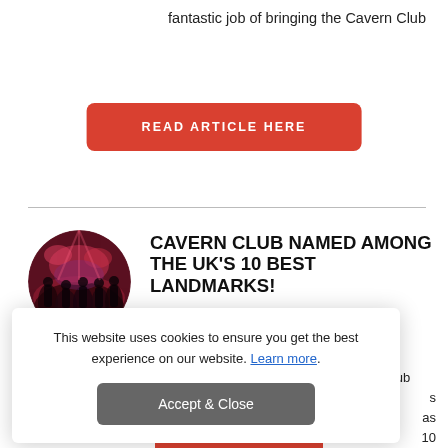fantastic job of bringing the Cavern Club
READ ARTICLE HERE
CAVERN CLUB NAMED AMONG THE UK'S 10 BEST LANDMARKS!
WEDNESDAY, 23 MAY 2018
It was announced today that the Cavern Club made TripAdvisor's top 10 Traveller's
This website uses cookies to ensure you get the best experience on our website. Learn more.
Accept & Close